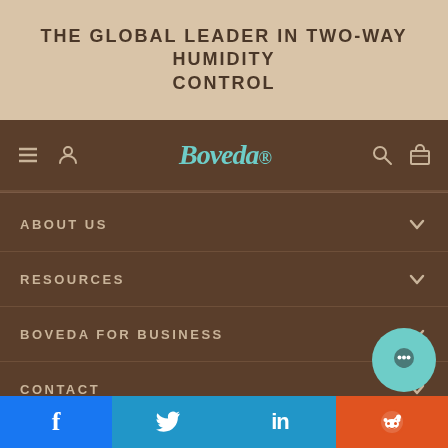THE GLOBAL LEADER IN TWO-WAY HUMIDITY CONTROL
[Figure (screenshot): Boveda website navigation bar with logo, hamburger menu, user icon, search icon, and cart icon on dark brown background]
ABOUT US
RESOURCES
BOVEDA FOR BUSINESS
CONTACT
[Figure (infographic): Social media footer with Facebook, Twitter, LinkedIn, and Reddit buttons]